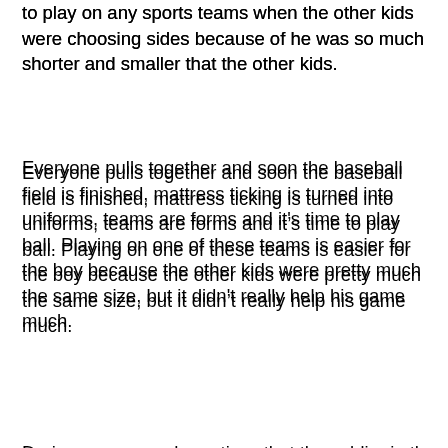to play on any sports teams when the other kids were choosing sides because of he was so much shorter and smaller that the other kids.
Everyone pulls together and soon the baseball field is finished, mattress ticking is turned into uniforms, teams are forms and it's time to play ball. Playing on one of these teams is easier for the boy because the other kids were pretty much the same size, but it didn't really help his game much.
During one game, he notices that the soldier in the guardhouse is watching him. Taking a few practice swings, the boy puts all his resentment and anger into his next swing, and sure enough, he made his first home run.
After the war, when the Japanese Americans who were held in internment camps are finally released and allowed to return home, the narrator finds himself once again alone at school. But when baseball season comes around, this time he proves himself a pretty good player, earning the nickname "Shorty." At a game, when it's his turn at bat, Shorty can hear